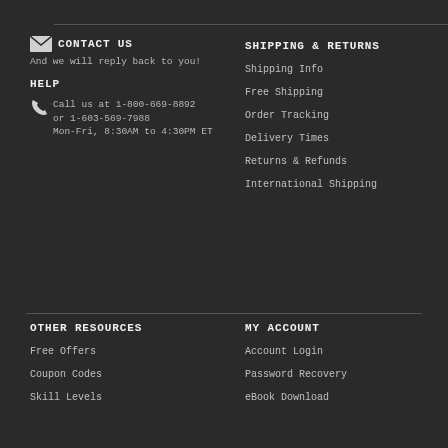CONTACT US
And we will reply back to you!
HELP
Call us at 1-800-669-8892 or 1-603-569-7988
Mon-Fri, 8:30AM to 4:30PM ET
SHIPPING & RETURNS
Shipping Info
Free Shipping
Order Tracking
Delivery Times
Returns & Refunds
International Shipping
OTHER RESOURCES
Free Offers
Coupon Codes
Skill Levels
MY ACCOUNT
Account Login
Password Recovery
eBook Download